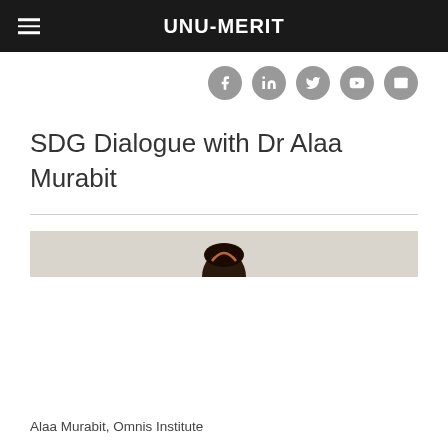UNU-MERIT
[Figure (other): Social media icon buttons: Facebook, LinkedIn, Twitter, YouTube, Email — grey circular icons]
SDG Dialogue with Dr Alaa Murabit
[Figure (photo): Partial photograph showing top of a person's head with dark hair, on a beige/tan background — appears to be Dr Alaa Murabit]
Alaa Murabit, Omnis Institute